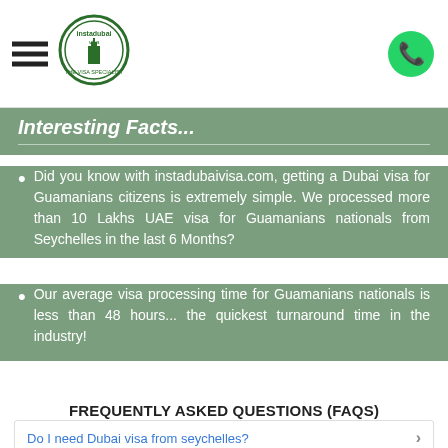instadubaivisa.com header with hamburger menu, logo, and WhatsApp icon
Interesting Facts...
Did you know with instadubaivisa.com, getting a Dubai visa for Guamanians citizens is extremely simple. We processed more than 10 Lakhs UAE visa for Guamanians nationals from Seychelles in the last 6 Months?
Our average visa processing time for Guamanians nationals is less than 48 hours... the quickest turnaround time in the industry!
FREQUENTLY ASKED QUESTIONS (FAQS)
Do I need Dubai visa from seychelles?
How do Guamanians can get a Dubai Visa?
What are the Dubai Visa requirements for Guamanians?